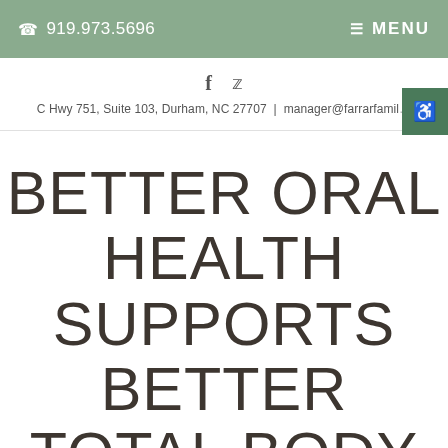919.973.5696 | MENU
f  y  |  C Hwy 751, Suite 103, Durham, NC 27707 | manager@farrarfamily...
BETTER ORAL HEALTH SUPPORTS BETTER TOTAL BODY HEALTH